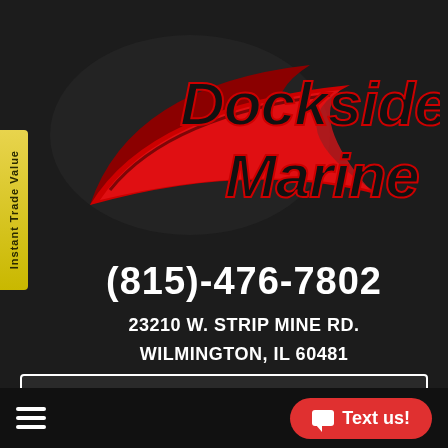[Figure (logo): Dockside Marine logo with red swoosh/wing graphic and stylized italic text 'Dockside Marine' in black with red outline]
Instant Trade Value
(815)-476-7802
23210 W. STRIP MINE RD.
WILMINGTON, IL 60481
Inventory Search
Text us!